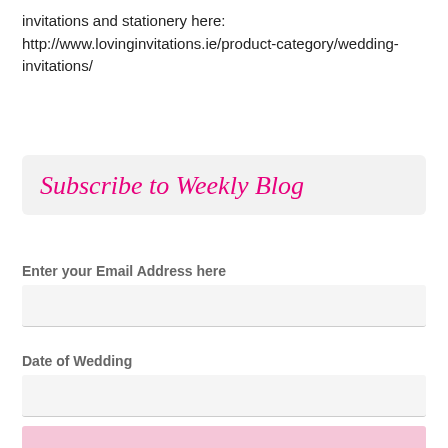invitations and stationery here:
http://www.lovinginvitations.ie/product-category/wedding-invitations/
Subscribe to Weekly Blog
Enter your Email Address here
Date of Wedding